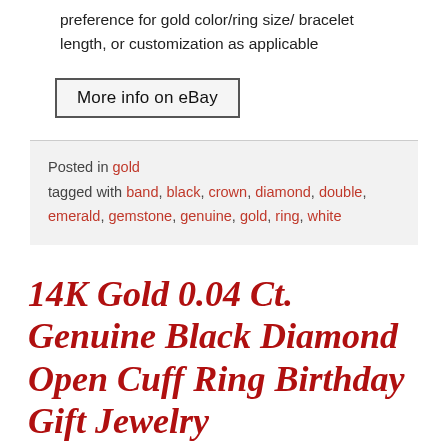preference for gold color/ring size/ bracelet length, or customization as applicable
More info on eBay
Posted in gold tagged with band, black, crown, diamond, double, emerald, gemstone, genuine, gold, ring, white
14K Gold 0.04 Ct. Genuine Black Diamond Open Cuff Ring Birthday Gift Jewelry
Posted on July 4, 2022